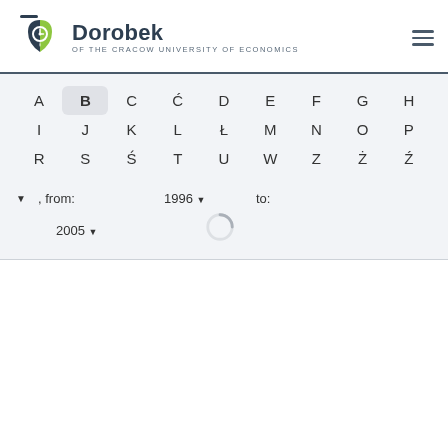[Figure (logo): Dorobek of the Cracow University of Economics logo with shield and pin icon in teal and green]
Dorobek OF THE CRACOW UNIVERSITY OF ECONOMICS
A B C Ć D E F G H I J K L Ł M N O P R S Ś T U W Z Ż Ź
, from: 1996 ▼  to:  2005 ▼
[Figure (infographic): Loading spinner (circular progress indicator)]